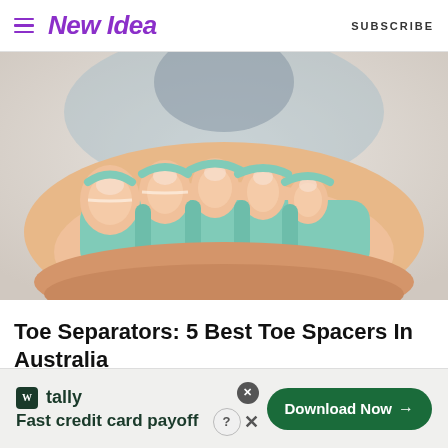New Idea  SUBSCRIBE
[Figure (photo): Close-up photo of a person holding out their foot toward camera, wearing mint green/teal toe separators between all toes, with blurred background of a person in a blue shirt]
Toe Separators: 5 Best Toe Spacers In Australia
[Figure (photo): Partial photo showing the top of someone's head with brown hair, appears to be a second article preview]
[Figure (other): Advertisement banner: Tally app - Fast credit card payoff, with Download Now button]